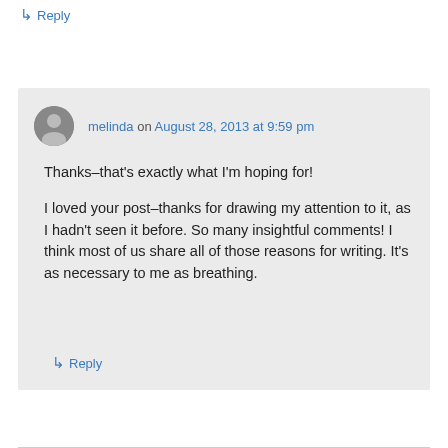↳ Reply
melinda on August 28, 2013 at 9:59 pm
Thanks–that's exactly what I'm hoping for!
I loved your post–thanks for drawing my attention to it, as I hadn't seen it before. So many insightful comments! I think most of us share all of those reasons for writing. It's as necessary to me as breathing.
↳ Reply